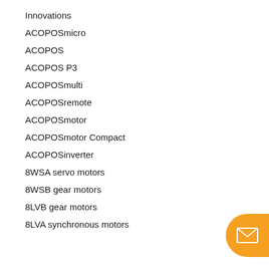Innovations
ACOPOSmicro
ACOPOS
ACOPOS P3
ACOPOSmulti
ACOPOSremote
ACOPOSmotor
ACOPOSmotor Compact
ACOPOSinverter
8WSA servo motors
8WSB gear motors
8LVB gear motors
8LVA synchronous motors
[Figure (illustration): Orange rounded button with envelope/email icon on right side of page]